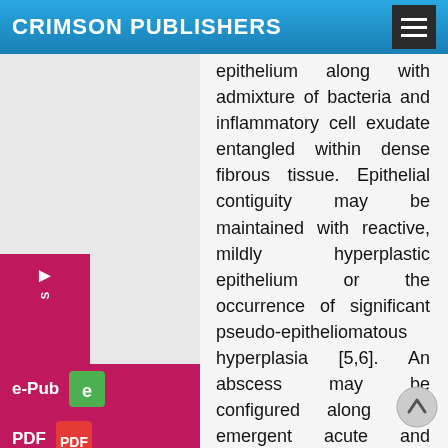CRIMSON PUBLISHERS
epithelium along with admixture of bacteria and inflammatory cell exudate entangled within dense fibrous tissue. Epithelial contiguity may be maintained with reactive, mildly hyperplastic epithelium or the occurrence of significant pseudo-epitheliomatous hyperplasia [5,6]. An abscess may be configured along with emergent acute and chronic inflammation. Tissue samples of cartilaginous external auditory canal delineate extension of inflammation into the apo-pilo- sebaceous apparatus [5,6]. Granulation tissue depicts significant proliferation of reactive, capillary-sized, vascular